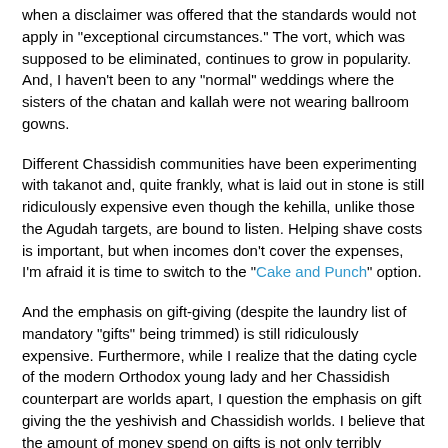when a disclaimer was offered that the standards would not apply in "exceptional circumstances." The vort, which was supposed to be eliminated, continues to grow in popularity. And, I haven't been to any "normal" weddings where the sisters of the chatan and kallah were not wearing ballroom gowns.
Different Chassidish communities have been experimenting with takanot and, quite frankly, what is laid out in stone is still ridiculously expensive even though the kehilla, unlike those the Agudah targets, are bound to listen. Helping shave costs is important, but when incomes don't cover the expenses, I'm afraid it is time to switch to the "Cake and Punch" option.
And the emphasis on gift-giving (despite the laundry list of mandatory "gifts" being trimmed) is still ridiculously expensive. Furthermore, while I realize that the dating cycle of the modern Orthodox young lady and her Chassidish counterpart are worlds apart, I question the emphasis on gift giving the the yeshivish and Chassidish worlds. I believe that the amount of money spend on gifts is not only terribly expensive and unjust to those without the means, but that it disconnects a the young couple from the reality that is about